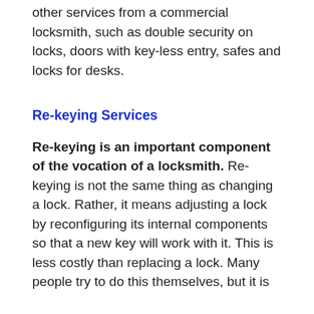other services from a commercial locksmith, such as double security on locks, doors with key-less entry, safes and locks for desks.
Re-keying Services
Re-keying is an important component of the vocation of a locksmith. Re-keying is not the same thing as changing a lock. Rather, it means adjusting a lock by reconfiguring its internal components so that a new key will work with it. This is less costly than replacing a lock. Many people try to do this themselves, but it is